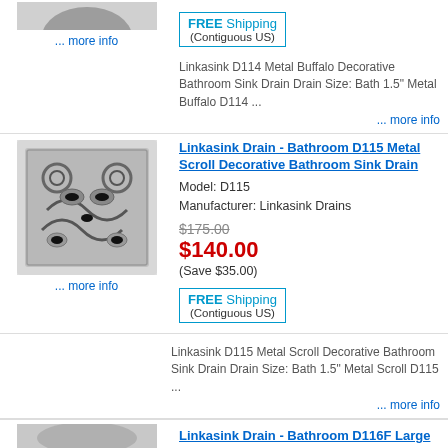[Figure (photo): Partial image of decorative bathroom sink drain at top of page]
... more info
[Figure (other): FREE Shipping (Contiguous US) box]
Linkasink D114 Metal Buffalo Decorative Bathroom Sink Drain Drain Size: Bath 1.5" Metal Buffalo D114  ...
... more info
Linkasink Drain - Bathroom D115 Metal Scroll Decorative Bathroom Sink Drain
Model: D115
Manufacturer: Linkasink Drains
$175.00
$140.00
(Save $35.00)
[Figure (photo): Linkasink D115 Metal Scroll decorative drain - square silver drain with scroll pattern]
[Figure (other): FREE Shipping (Contiguous US) box]
... more info
Linkasink D115 Metal Scroll Decorative Bathroom Sink Drain Drain Size: Bath 1.5" Metal Scroll D115   ...
... more info
Linkasink Drain - Bathroom D116F Large